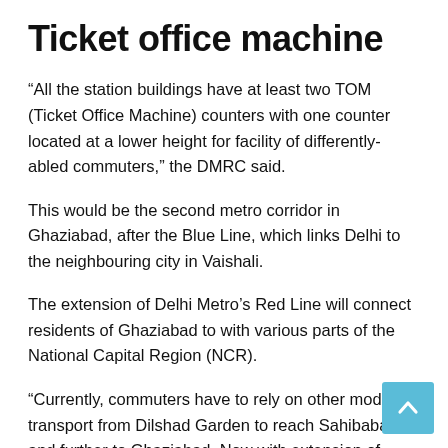Ticket office machine
“All the station buildings have at least two TOM (Ticket Office Machine) counters with one counter located at a lower height for facility of differently-abled commuters,” the DMRC said.
This would be the second metro corridor in Ghaziabad, after the Blue Line, which links Delhi to the neighbouring city in Vaishali.
The extension of Delhi Metro’s Red Line will connect residents of Ghaziabad to with various parts of the National Capital Region (NCR).
“Currently, commuters have to rely on other modes of transport from Dilshad Garden to reach Sahibabad and further to Ghaziabad. Now with extension of metro, connectivity to Mohan Nagar from Dilshad Garden would be improved.